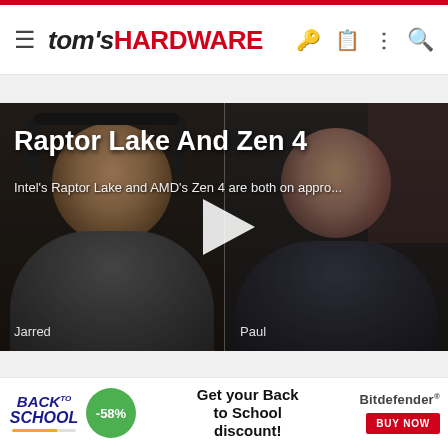tom's HARDWARE
[Figure (screenshot): Video thumbnail split-screen showing two people (Jarred on left, Paul on right) with a play button in the center, titled 'Raptor Lake And Zen 4' with subtitle 'Intel's Raptor Lake and AMD's Zen 4 are both on appro...']
Raptor Lake And Zen 4
Intel's Raptor Lake and AMD's Zen 4 are both on appro...
[Figure (infographic): Bitdefender Back to School advertisement banner with -58% discount badge and 'Get your Back to School discount!' text with BUY NOW button]